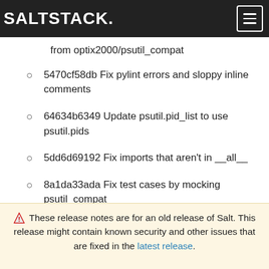SALTSTACK.
from optix2000/psutil_compat
5470cf58db Fix pylint errors and sloppy inline comments
64634b6349 Update psutil.pid_list to use psutil.pids
5dd6d69192 Fix imports that aren't in __all__
8a1da33ada Fix test cases by mocking psutil_compat
558798df1f Fix net_io_counters deprecation issue
⚠ These release notes are for an old release of Salt. This release might contain known security and other issues that are fixed in the latest release.